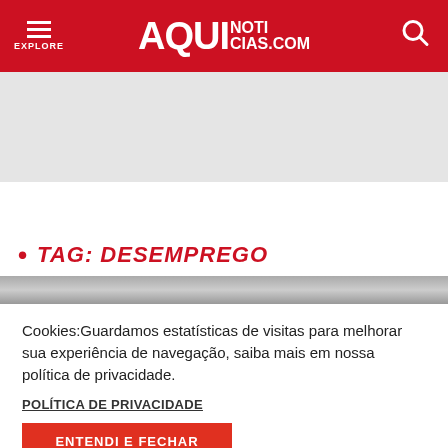AQUI NOTICIAS.COM
[Figure (photo): Gray banner/advertisement area at top of page]
• TAG: DESEMPREGO
[Figure (photo): Partial blurred news article image strip]
Cookies:Guardamos estatísticas de visitas para melhorar sua experiência de navegação, saiba mais em nossa política de privacidade.
POLÍTICA DE PRIVACIDADE
ENTENDI E FECHAR